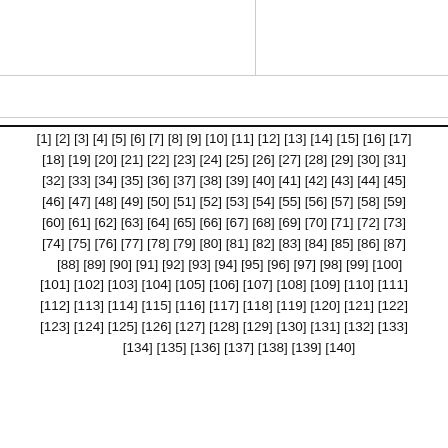|  |  |
|  |
[1] [2] [3] [4] [5] [6] [7] [8] [9] [10] [11] [12] [13] [14] [15] [16] [17] [18] [19] [20] [21] [22] [23] [24] [25] [26] [27] [28] [29] [30] [31] [32] [33] [34] [35] [36] [37] [38] [39] [40] [41] [42] [43] [44] [45] [46] [47] [48] [49] [50] [51] [52] [53] [54] [55] [56] [57] [58] [59] [60] [61] [62] [63] [64] [65] [66] [67] [68] [69] [70] [71] [72] [73] [74] [75] [76] [77] [78] [79] [80] [81] [82] [83] [84] [85] [86] [87] [88] [89] [90] [91] [92] [93] [94] [95] [96] [97] [98] [99] [100] [101] [102] [103] [104] [105] [106] [107] [108] [109] [110] [111] [112] [113] [114] [115] [116] [117] [118] [119] [120] [121] [122] [123] [124] [125] [126] [127] [128] [129] [130] [131] [132] [133] [134] [135] [136] [137] [138] [139] [140]